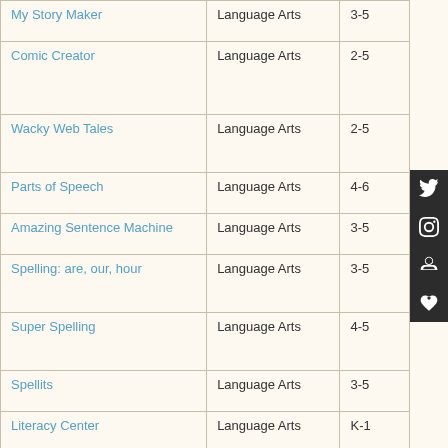| My Story Maker | Language Arts | 3-5 |
| Comic Creator | Language Arts | 2-5 |
| Wacky Web Tales | Language Arts | 2-5 |
| Parts of Speech | Language Arts | 4-6 |
| Amazing Sentence Machine | Language Arts | 3-5 |
| Spelling: are, our, hour | Language Arts | 3-5 |
| Super Spelling | Language Arts | 4-5 |
| Spellits | Language Arts | 3-5 |
| Literacy Center | Language Arts | K-1 |
| Homophones - There, They're, Their | Language Arts | 3-5 |
| Lil Fingers | Language Arts | K-2 |